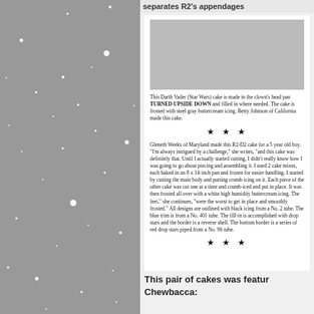[Figure (photo): Gray starfield background image on the left half of the page]
separates R2's appendages
[Figure (photo): Image of a cake at top of white inset panel]
This Darth Vader (Star Wars) cake is made in the clown's head pan TURNED UPSIDE DOWN and filled in where needed. The cake is frosted with steel gray buttercream icing. Betty Johnson of California made this cake.
★ ★ ★
Gleneth Weeks of Maryland made this R2-D2 cake for a 5 year old boy. "I'm always intrigued by a challenge," she writes, "and this cake was definitely that. Until I actually started cutting, I didn't really know how I was going to go about piecing and assembling it. I used 2 cake mixes, each baked in an 8 x 14-inch pan and frozen for easier handling. I started by cutting the main body and putting crumb icing on it. Each piece of the other cake was cut one at a time and crumb-iced and put in place. It was then frosted all over with a white high humidity buttercream icing. The feet," she continues, "were the worst to get in place and smoothly frosted." All designs are outlined with black icing from a No. 2 tube. The blue trim is from a No. 401 tube. The fill-in is accomplished with drop stars and the border is a reverse shell. The bottom border is a series of red drop stars piped from a No. 96 tube.
★ ★ ★
This pair of cakes was featur Chewbacca: